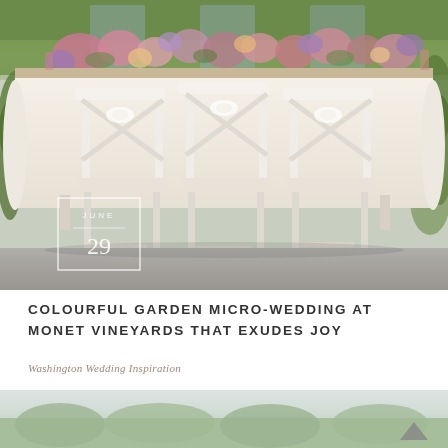[Figure (photo): Wedding sweetheart table with white cross-back chairs in front of a lush floral arrangement with pink and purple flowers, ivy backdrop, white tablecloth. Date overlay box showing 'JUNE 29' in bottom-left corner of photo.]
COLOURFUL GARDEN MICRO-WEDDING AT MONET VINEYARDS THAT EXUDES JOY
Washington Wedding Inspiration
[Figure (photo): Partial bottom photo showing a blurred outdoor garden/vineyard scene with green trees and light sky. A gray upward-pointing arrow (back-to-top button) is visible in the lower right corner.]